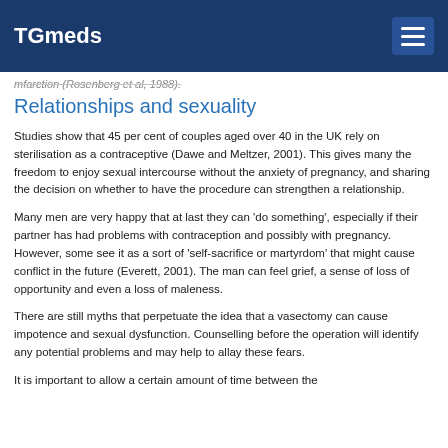TGmeds
mfarction (Rosenberg et al, 1988).
Relationships and sexuality
Studies show that 45 per cent of couples aged over 40 in the UK rely on sterilisation as a contraceptive (Dawe and Meltzer, 2001). This gives many the freedom to enjoy sexual intercourse without the anxiety of pregnancy, and sharing the decision on whether to have the procedure can strengthen a relationship.
Many men are very happy that at last they can 'do something', especially if their partner has had problems with contraception and possibly with pregnancy. However, some see it as a sort of 'self-sacrifice or martyrdom' that might cause conflict in the future (Everett, 2001). The man can feel grief, a sense of loss of opportunity and even a loss of maleness.
There are still myths that perpetuate the idea that a vasectomy can cause impotence and sexual dysfunction. Counselling before the operation will identify any potential problems and may help to allay these fears.
It is important to allow a certain amount of time between the